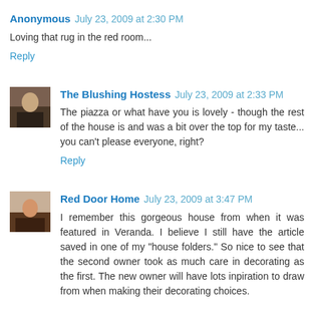Anonymous July 23, 2009 at 2:30 PM
Loving that rug in the red room...
Reply
The Blushing Hostess July 23, 2009 at 2:33 PM
The piazza or what have you is lovely - though the rest of the house is and was a bit over the top for my taste... you can't please everyone, right?
Reply
Red Door Home July 23, 2009 at 3:47 PM
I remember this gorgeous house from when it was featured in Veranda. I believe I still have the article saved in one of my "house folders." So nice to see that the second owner took as much care in decorating as the first. The new owner will have lots inpiration to draw from when making their decorating choices.
Reply